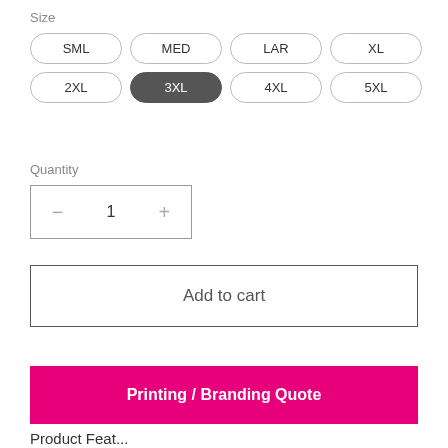Size
SML MED LAR XL 2XL 3XL 4XL 5XL
Quantity
− 1 +
Add to cart
Printing / Branding Quote
Product Feat...